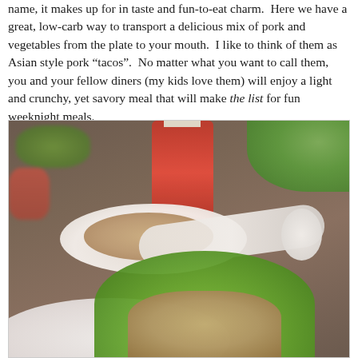name, it makes up for in taste and fun-to-eat charm. Here we have a great, low-carb way to transport a delicious mix of pork and vegetables from the plate to your mouth. I like to think of them as Asian style pork "tacos". No matter what you want to call them, you and your fellow diners (my kids love them) will enjoy a light and crunchy, yet savory meal that will make the list for fun weeknight meals.
[Figure (photo): Food photo showing a table setting with a Sriracha hot sauce bottle in the background, a white bowl filled with cooked pork and vegetable mixture, a white spoon, a white plate, and a lettuce wrap (lettuce leaf filled with pork and vegetable mixture) in the foreground.]